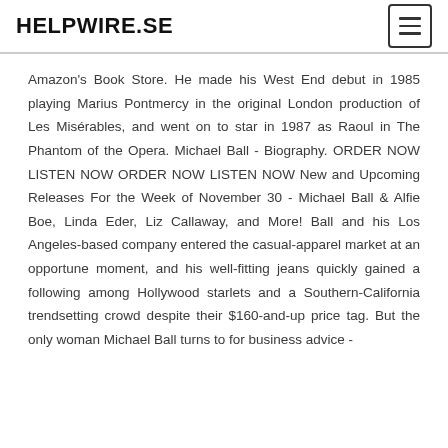HELPWIRE.SE
Amazon's Book Store. He made his West End debut in 1985 playing Marius Pontmercy in the original London production of Les Misérables, and went on to star in 1987 as Raoul in The Phantom of the Opera. Michael Ball - Biography. ORDER NOW LISTEN NOW ORDER NOW LISTEN NOW New and Upcoming Releases For the Week of November 30 - Michael Ball & Alfie Boe, Linda Eder, Liz Callaway, and More! Ball and his Los Angeles-based company entered the casual-apparel market at an opportune moment, and his well-fitting jeans quickly gained a following among Hollywood starlets and a Southern-California trendsetting crowd despite their $160-and-up price tag. But the only woman Michael Ball turns to for business advice -